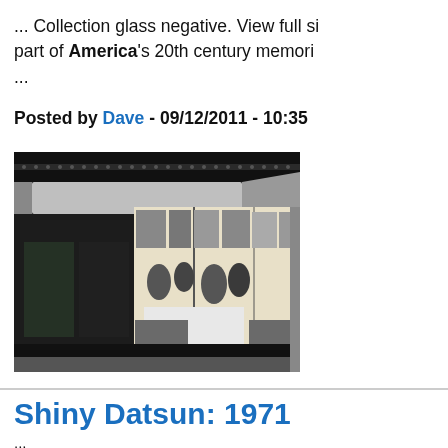... Collection glass negative. View full si part of America's 20th century memori ...
Posted by Dave - 09/12/2011 - 10:35
[Figure (photo): Black and white photograph of a 5 and 10 cent store storefront at night, showing glass display windows with merchandise and people inside, with decorative facade above.]
Shiny Datsun: 1971
... (truncated)